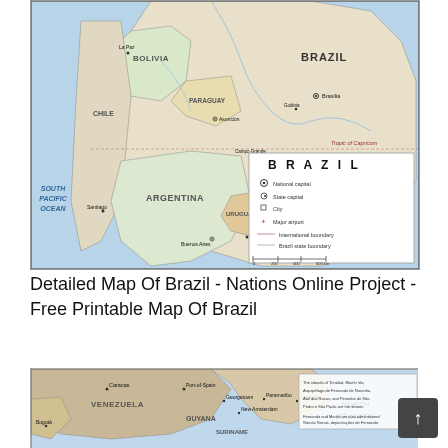[Figure (map): Detailed political map of Brazil and surrounding South American countries including Bolivia, Paraguay, Argentina, Chile, Uruguay. Shows national capitals, state capitals, cities, major airports, international boundaries, and Brazil state boundaries. Includes an inset legend box labeled BRAZIL with symbols for National capital, State capital, City, Major airport, International boundary, and Brazil state boundary. South Pacific Ocean and South Atlantic Ocean labeled. Tropic of Capricorn line shown.]
Detailed Map Of Brazil - Nations Online Project - Free Printable Map Of Brazil
[Figure (map): Partial map showing northern South America including Venezuela, Guyana, Suriname, French Guiana, and northern Brazil. Cities including Caracas, Port-of-Spain, Georgetown, New Amsterdam, Paramaribo, Cayenne, Bogota visible. North Atlantic Ocean labeled. Includes a text note box in upper right corner.]